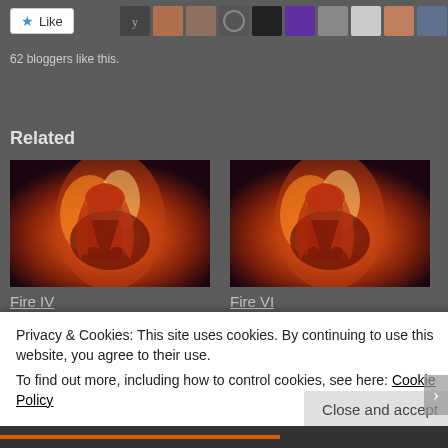[Figure (screenshot): Like button with star icon and a row of blogger avatar thumbnails]
62 bloggers like this.
Related
[Figure (illustration): Fantasy illustration of a red-haired woman with fire, labeled Fire IV]
Fire IV
March 17, 2020
In "Stories"
[Figure (illustration): Fantasy illustration of a red-haired woman with fire, labeled Fire VI]
Fire VI
March 23, 2020
In "Stories"
Privacy & Cookies: This site uses cookies. By continuing to use this website, you agree to their use.
To find out more, including how to control cookies, see here: Cookie Policy
Close and accept